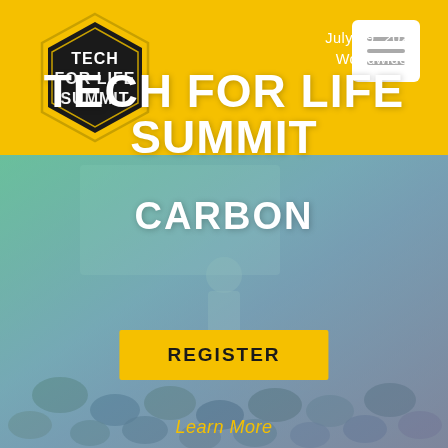[Figure (logo): Tech For Life Summit hexagon logo in dark/black with white text and gold outline on yellow background]
July 19, 2022
Worldwide
TECH FOR LIFE SUMMIT
CARBON
REGISTER
Learn More